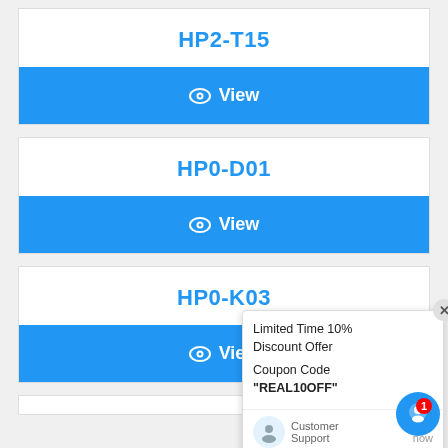HP2-T15
View
HP0-D01
View
HP0-K03
View
[Figure (screenshot): Chat popup with limited time 10% discount offer, coupon code REAL10OFF, customer support agent avatar, and type bar with icons]